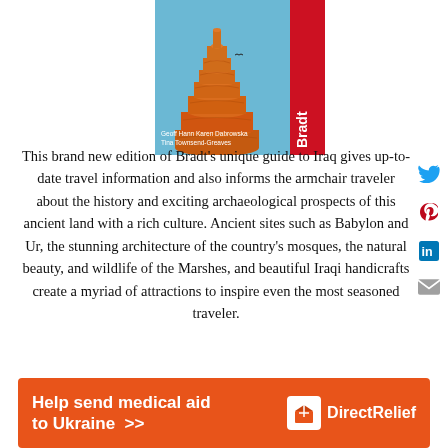[Figure (illustration): Book cover of Bradt Iraq travel guide showing a spiral minaret tower (Malwiya) against a blue sky with a red Bradt publisher banner on the right side. Authors listed: Geoff Hann, Karen Dabrowska, Tina Townsend-Greaves.]
This brand new edition of Bradt's unique guide to Iraq gives up-to-date travel information and also informs the armchair traveler about the history and exciting archaeological prospects of this ancient land with a rich culture. Ancient sites such as Babylon and Ur, the stunning architecture of the country's mosques, the natural beauty, and wildlife of the Marshes, and beautiful Iraqi handicrafts create a myriad of attractions to inspire even the most seasoned traveler.
[Figure (infographic): Orange banner advertisement: 'Help send medical aid to Ukraine >>' with Direct Relief logo on the right.]